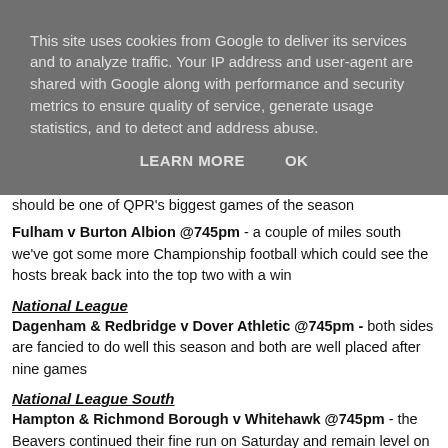This site uses cookies from Google to deliver its services and to analyze traffic. Your IP address and user-agent are shared with Google along with performance and security metrics to ensure quality of service, generate usage statistics, and to detect and address abuse.
LEARN MORE   OK
should be one of QPR's biggest games of the season
Fulham v Burton Albion @745pm - a couple of miles south we've got some more Championship football which could see the hosts break back into the top two with a win
National League
Dagenham & Redbridge v Dover Athletic @745pm - both sides are fancied to do well this season and both are well placed after nine games
National League South
Hampton & Richmond Borough v Whitehawk @745pm - the Beavers continued their fine run on Saturday and remain level on points with leaders Maidenhead. Will they move